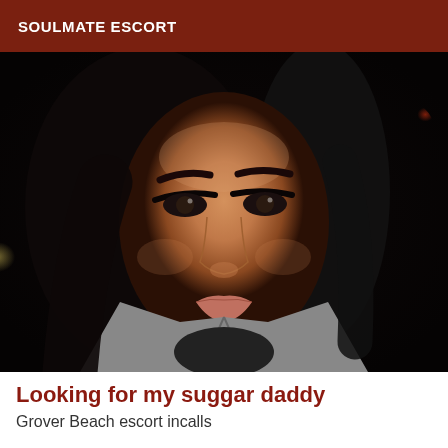SOULMATE ESCORT
[Figure (photo): Close-up selfie photo of a young woman with dark hair, heavy eye makeup, and a grey jacket, photographed indoors at night.]
Looking for my suggar daddy
Grover Beach escort incalls